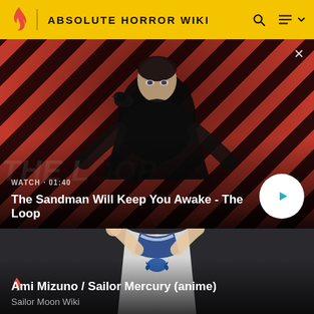ABSOLUTE HORROR WIKI
[Figure (screenshot): Video thumbnail showing a pale man in dark clothing with a black crow on his shoulder, standing against a red and black diagonal striped background. Text reads 'WATCH · 01:40' and 'The Sandman Will Keep You Awake - The Loop' with a play button.]
[Figure (screenshot): Anime character card showing Sailor Mercury (Ami Mizuno) in her sailor uniform with blue accents, raising her hand. Title reads 'Ami Mizuno / Sailor Mercury (anime)' with subtitle 'Sailor Moon Wiki'.]